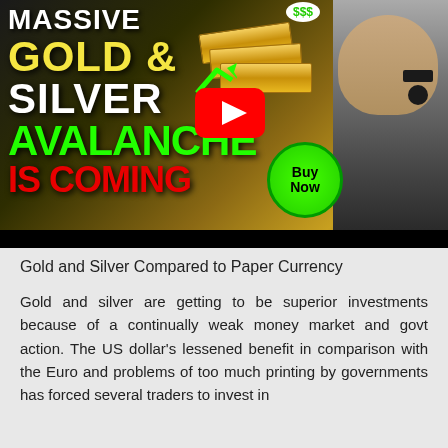[Figure (screenshot): YouTube video thumbnail showing bold text 'MASSIVE GOLD & SILVER AVALANCHE IS COMING' with yellow, white, green, and red text on dark background, YouTube play button in center, green 'Buy Now' badge, gold bars, green arrow, money signs, and a man's face on the right side.]
Gold and Silver Compared to Paper Currency
Gold and silver are getting to be superior investments because of a continually weak money market and govt action. The US dollar's lessened benefit in comparison with the Euro and problems of too much printing by governments has forced several traders to invest in